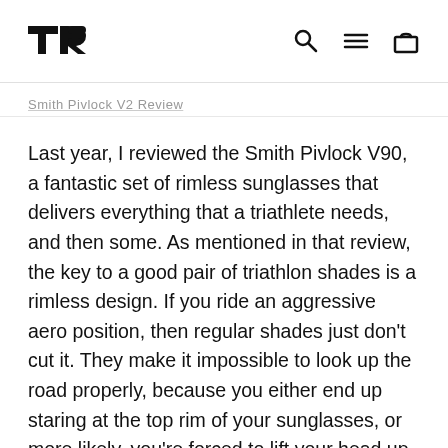TR logo, search, menu, cart icons
Smith Pivlock V2 Review
Last year, I reviewed the Smith Pivlock V90, a fantastic set of rimless sunglasses that delivers everything that a triathlete needs, and then some. As mentioned in that review, the key to a good pair of triathlon shades is a rimless design. If you ride an aggressive aero position, then regular shades just don't cut it. They make it impossible to look up the road properly, because you either end up staring at the top rim of your sunglasses, or more likely, you're forced to lift your head up into the air, compromising your position. I've also said many times that I really prefer helmets with visors for this